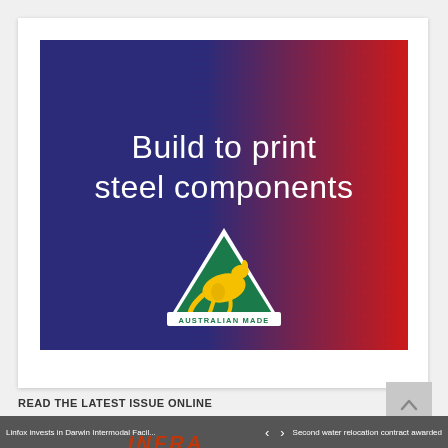[Figure (illustration): Advertisement image with dark navy-to-red gradient background. White text reads 'Build to print steel components'. Below the text is the Australian Made logo — a green triangle with a yellow kangaroo silhouette and the text 'AUSTRALIAN MADE' along the bottom edge.]
READ THE LATEST ISSUE ONLINE
Linfox invests in Darwin Intermodal Facil...   <   >   Second water relocation contract awarded